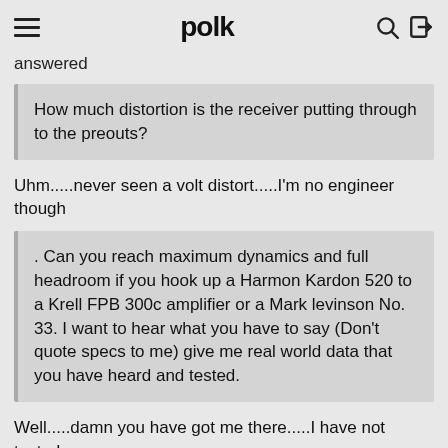polk
answered
How much distortion is the receiver putting through to the preouts?
Uhm.....never seen a volt distort.....I'm no engineer though
. Can you reach maximum dynamics and full headroom if you hook up a Harmon Kardon 520 to a Krell FPB 300c amplifier or a Mark levinson No. 33. I want to hear what you have to say (Don't quote specs to me) give me real world data that you have heard and tested.
Well.....damn you have got me there.....I have not tested